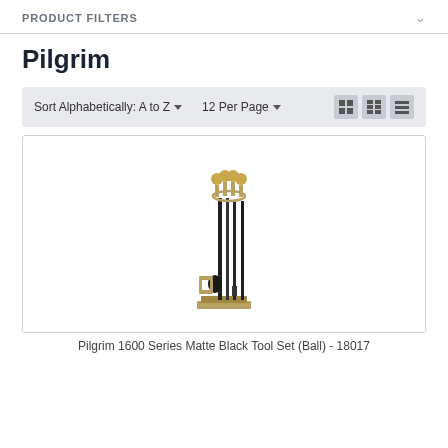PRODUCT FILTERS
Pilgrim
Sort Alphabetically: A to Z ▾   12 Per Page ▾
[Figure (photo): Pilgrim 1600 Series Matte Black fireplace tool set with ball-top brass handles on a brass base, consisting of multiple tools on a stand.]
Pilgrim 1600 Series Matte Black Tool Set (Ball) - 18017